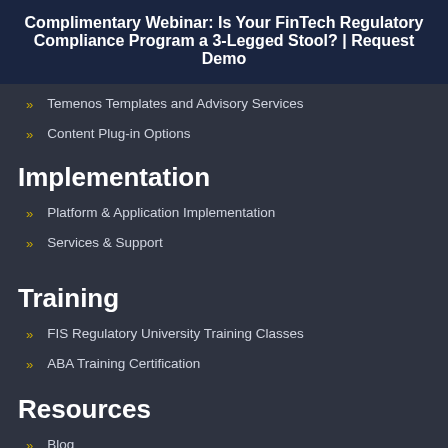Complimentary Webinar: Is Your FinTech Regulatory Compliance Program a 3-Legged Stool? | Request Demo
Temenos Templates and Advisory Services
Content Plug-in Options
Implementation
Platform & Application Implementation
Services & Support
Training
FIS Regulatory University Training Classes
ABA Training Certification
Resources
Blog